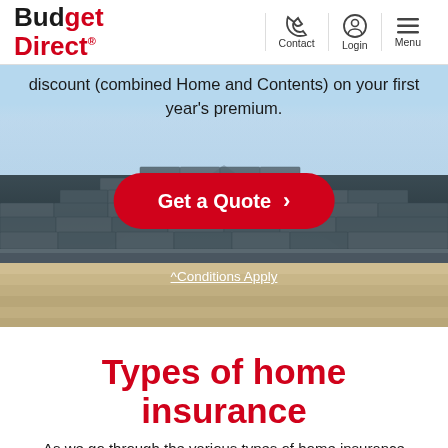Budget Direct | Contact | Login | Menu
discount (combined Home and Contents) on your first year's premium.
[Figure (photo): Close-up photograph of a tiled house roof with guttering, shot from below against a light blue sky. A red rounded-rectangle button reading 'Get a Quote >' is overlaid at center. Below the button, white underlined text reads '^Conditions Apply'.]
Types of home insurance
As we go through the various types of home insurance